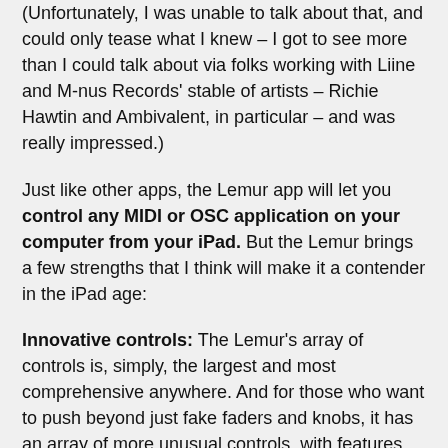(Unfortunately, I was unable to talk about that, and could only tease what I knew – I got to see more than I could talk about via folks working with Liine and M-nus Records' stable of artists – Richie Hawtin and Ambivalent, in particular – and was really impressed.)
Just like other apps, the Lemur app will let you control any MIDI or OSC application on your computer from your iPad. But the Lemur brings a few strengths that I think will make it a contender in the iPad age:
Innovative controls: The Lemur's array of controls is, simply, the largest and most comprehensive anywhere. And for those who want to push beyond just fake faders and knobs, it has an array of more unusual controls, with features like:
Physics: Simulated physics and dynamic movement were, to me, one of those most interesting features of the original Lemur. Whereas I'd almost always choose a